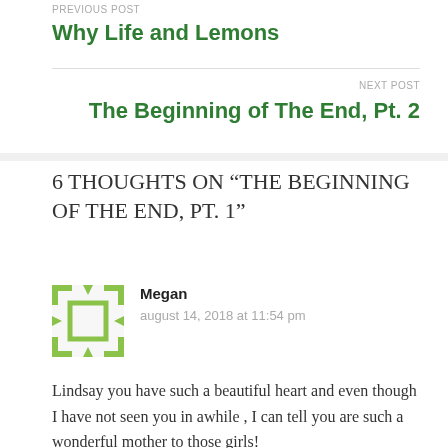PREVIOUS POST
Why Life and Lemons
NEXT POST
The Beginning of The End, Pt. 2
6 THOUGHTS ON “THE BEGINNING OF THE END, PT. 1”
Megan
august 14, 2018 at 11:54 pm
Lindsay you have such a beautiful heart and even though I have not seen you in awhile , I can tell you are such a wonderful mother to those girls!